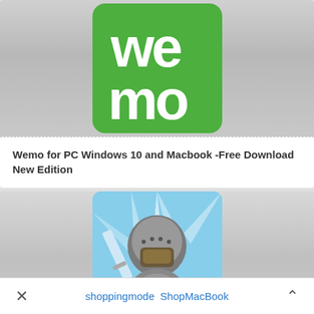[Figure (logo): Wemo app logo — green square background with white stylized 'we' on top and 'mo' below with circular shapes]
Wemo for PC Windows 10 and Macbook -Free Download New Edition
[Figure (illustration): Game app icon showing an armored knight character holding a sword, with blue and white burst background]
× shoppingmode ShopMacBook ∧